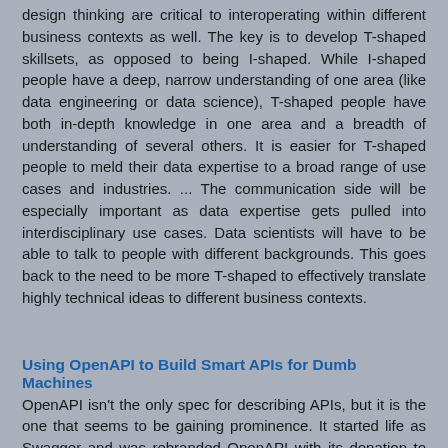design thinking are critical to interoperating within different business contexts as well. The key is to develop T-shaped skillsets, as opposed to being I-shaped. While I-shaped people have a deep, narrow understanding of one area (like data engineering or data science), T-shaped people have both in-depth knowledge in one area and a breadth of understanding of several others. It is easier for T-shaped people to meld their data expertise to a broad range of use cases and industries. ... The communication side will be especially important as data expertise gets pulled into interdisciplinary use cases. Data scientists will have to be able to talk to people with different backgrounds. This goes back to the need to be more T-shaped to effectively translate highly technical ideas to different business contexts.
Using OpenAPI to Build Smart APIs for Dumb Machines
OpenAPI isn't the only spec for describing APIs, but it is the one that seems to be gaining prominence. It started life as Swagger and was rebranded OpenAPI with its donation to the OpenAPI initiative. RAML and API Blueprint have their own adherents. Other folks like AWS, Google, and Palantir